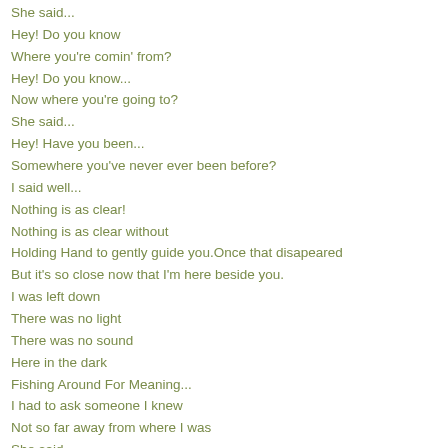She said...
Hey! Do you know
Where you're comin' from?
Hey! Do you know...
Now where you're going to?
She said...
Hey! Have you been...
Somewhere you've never ever been before?
I said well...
Nothing is as clear!
Nothing is as clear without
Holding Hand to gently guide you.Once that disapeared
But it's so close now that I'm here beside you.
I was left down
There was no light
There was no sound
Here in the dark
Fishing Around For Meaning...
I had to ask someone I knew
Not so far away from where I was
She said...